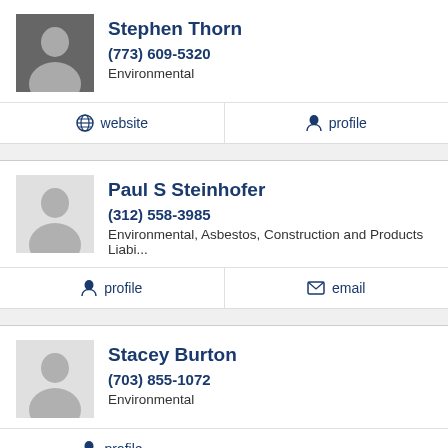Stephen Thorn
(773) 609-5320
Environmental
website   profile
Paul S Steinhofer
(312) 558-3985
Environmental, Asbestos, Construction and Products Liabi...
profile   email
Stacey Burton
(703) 855-1072
Environmental
profile